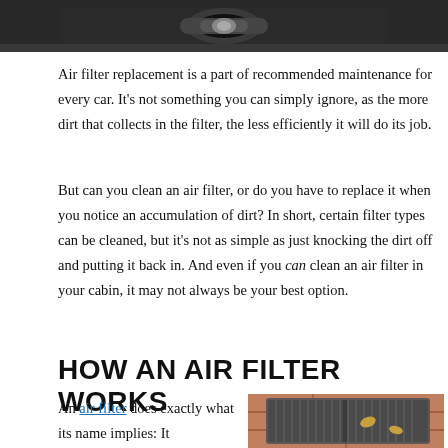[Figure (photo): Top portion of a car interior/exterior, showing what appears to be a car door handle or trunk area in dark color]
Air filter replacement is a part of recommended maintenance for every car. It's not something you can simply ignore, as the more dirt that collects in the filter, the less efficiently it will do its job.
But can you clean an air filter, or do you have to replace it when you notice an accumulation of dirt? In short, certain filter types can be cleaned, but it's not as simple as just knocking the dirt off and putting it back in. And even if you can clean an air filter in your cabin, it may not always be your best option.
HOW AN AIR FILTER WORKS
An air filter does exactly what its name implies: It
[Figure (photo): A rectangular car air filter with pleated filter media, placed on stone pavers, with a couple of small leaves on top of it]